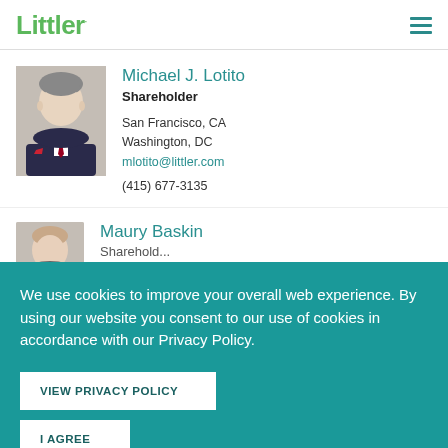Littler
Michael J. Lotito
Shareholder
San Francisco, CA
Washington, DC
mlotito@littler.com
(415) 677-3135
Maury Baskin
Shareholder
We use cookies to improve your overall web experience. By using our website you consent to our use of cookies in accordance with our Privacy Policy.
VIEW PRIVACY POLICY
I AGREE